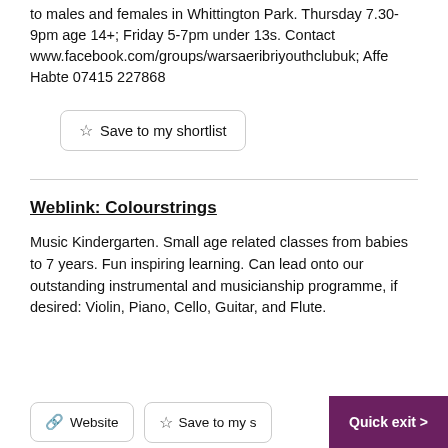to males and females in Whittington Park. Thursday 7.30-9pm age 14+; Friday 5-7pm under 13s. Contact www.facebook.com/groups/warsaeribriyouthclubuk; Affe Habte 07415 227868
Save to my shortlist
Weblink: Colourstrings
Music Kindergarten. Small age related classes from babies to 7 years. Fun inspiring learning. Can lead onto our outstanding instrumental and musicianship programme, if desired: Violin, Piano, Cello, Guitar, and Flute.
Website
Save to my s...
Quick exit >